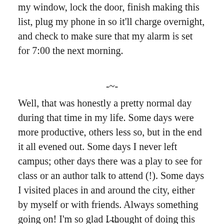my window, lock the door, finish making this list, plug my phone in so it'll charge overnight, and check to make sure that my alarm is set for 7:00 the next morning.
-~-
Well, that was honestly a pretty normal day during that time in my life. Some days were more productive, others less so, but in the end it all evened out. Some days I never left campus; other days there was a play to see for class or an author talk to attend (!). Some days I visited places in and around the city, either by myself or with friends. Always something going on! I'm so glad I thought of doing this for a Study Abroad Day™ because it will be great to look back on someday when I'm missing Ireland!
-~-